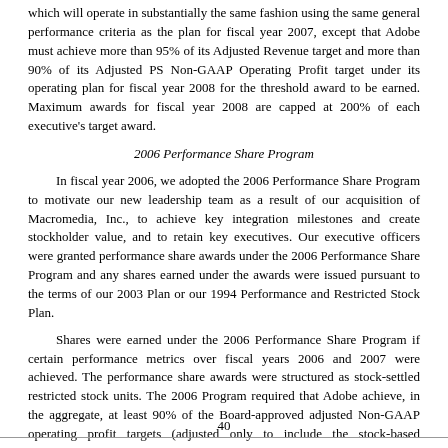which will operate in substantially the same fashion using the same general performance criteria as the plan for fiscal year 2007, except that Adobe must achieve more than 95% of its Adjusted Revenue target and more than 90% of its Adjusted PS Non-GAAP Operating Profit target under its operating plan for fiscal year 2008 for the threshold award to be earned. Maximum awards for fiscal year 2008 are capped at 200% of each executive's target award.
2006 Performance Share Program
In fiscal year 2006, we adopted the 2006 Performance Share Program to motivate our new leadership team as a result of our acquisition of Macromedia, Inc., to achieve key integration milestones and create stockholder value, and to retain key executives. Our executive officers were granted performance share awards under the 2006 Performance Share Program and any shares earned under the awards were issued pursuant to the terms of our 2003 Plan or our 1994 Performance and Restricted Stock Plan.
Shares were earned under the 2006 Performance Share Program if certain performance metrics over fiscal years 2006 and 2007 were achieved. The performance share awards were structured as stock-settled restricted stock units. The 2006 Program required that Adobe achieve, in the aggregate, at least 90% of the Board-approved adjusted Non-GAAP operating profit targets (adjusted only to include the stock-based compensation impact of SFAS 123R and related tax impact, due to plan requirements) for
40